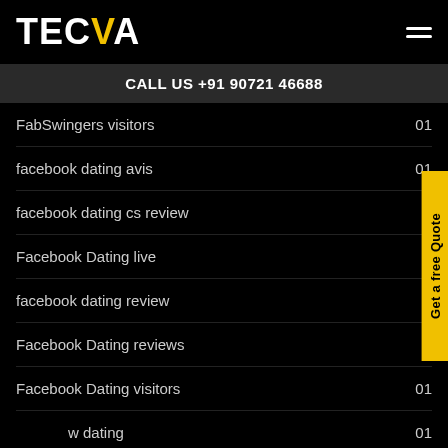TECVA
CALL US +91 90721 46688
FabSwingers visitors 01
facebook dating avis 01
facebook dating cs review 01
Facebook Dating live
facebook dating review
Facebook Dating reviews
Facebook Dating visitors 01
faceflow dating 01
FaceFlow visitors 01
Get a free Quote